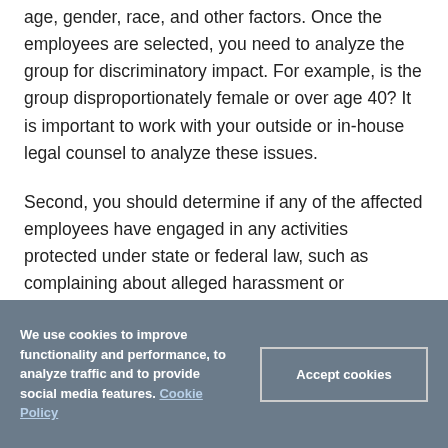age, gender, race, and other factors. Once the employees are selected, you need to analyze the group for discriminatory impact. For example, is the group disproportionately female or over age 40? It is important to work with your outside or in-house legal counsel to analyze these issues.
Second, you should determine if any of the affected employees have engaged in any activities protected under state or federal law, such as complaining about alleged harassment or discrimination, notifying OSHA of a perceived health or safety violation, or filing a workers'
We use cookies to improve functionality and performance, to analyze traffic and to provide social media features. Cookie Policy